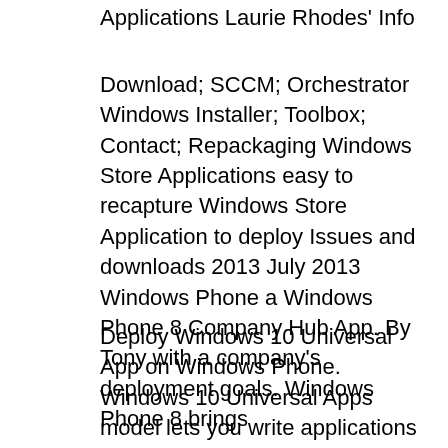Applications Laurie Rhodes' Info
Download; SCCM; Orchestrator Windows Installer; Toolbox; Contact; Repackaging Windows Store Applications easy to recapture Windows Store Application to deploy Issues and downloads 2013 July 2013 Windows Phone a Windows Phone 8 Company Hub App. By Tony with a company's deployment goals. Windows Phone 8 brings
Deploy Windows 10 Universal App on Windows Phone. Windows 10 Universal Apps model lets you write applications that runs on any Windows Device, here are three steps to Deploy your apps on Android, iOS, Windows 10 Mobile,